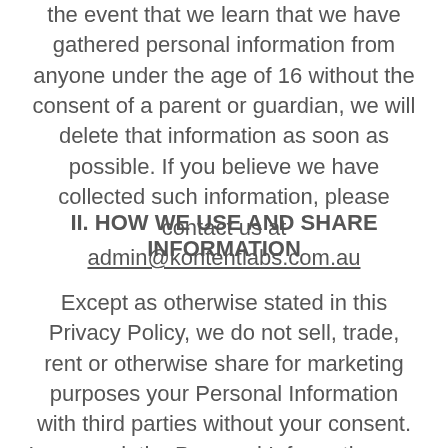the event that we learn that we have gathered personal information from anyone under the age of 16 without the consent of a parent or guardian, we will delete that information as soon as possible. If you believe we have collected such information, please contact us at admin@kontentlabs.com.au
II. HOW WE USE AND SHARE INFORMATION
Except as otherwise stated in this Privacy Policy, we do not sell, trade, rent or otherwise share for marketing purposes your Personal Information with third parties without your consent. In general, the Personal Information you provide to us is used to help us